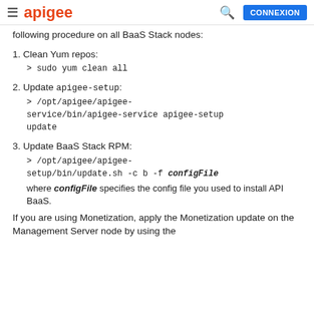apigee | CONNEXION
following procedure on all BaaS Stack nodes:
1. Clean Yum repos:
> sudo yum clean all
2. Update apigee-setup:
> /opt/apigee/apigee-service/bin/apigee-service apigee-setup update
3. Update BaaS Stack RPM:
> /opt/apigee/apigee-setup/bin/update.sh -c b -f configFile
where configFile specifies the config file you used to install API BaaS.
If you are using Monetization, apply the Monetization update on the Management Server node by using the